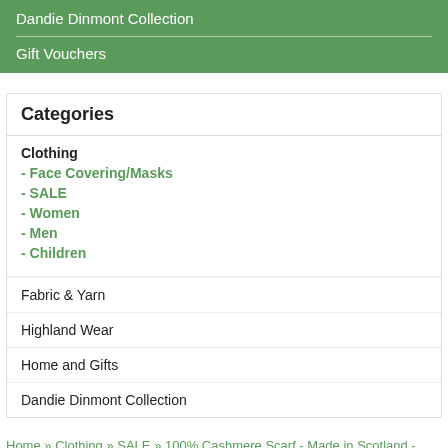Dandie Dinmont Collection
Gift Vouchers
Categories
Clothing
- Face Covering/Masks
- SALE
- Women
- Men
- Children
Fabric & Yarn
Highland Wear
Home and Gifts
Dandie Dinmont Collection
Home » Clothing » SALE » 100% Cashmere Scarf - Made in Scotland - Pink Checked Design